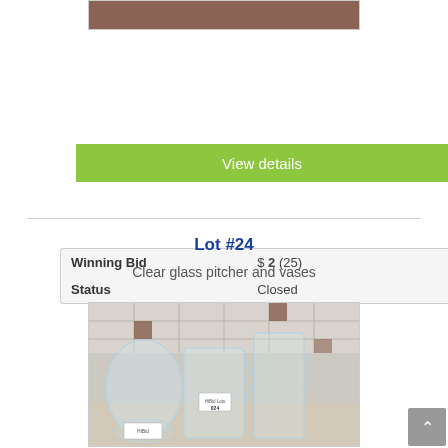[Figure (photo): Top portion of a product photo, cropped — reddish-brown item on light background]
View details
| Winning Bid | $ 2 (25) |
| Status | Closed |
Lot #24
Clear glass pitcher and vases
[Figure (photo): Photo of clear glass pitcher and vases on a tiled countertop background, with lot tag #024]